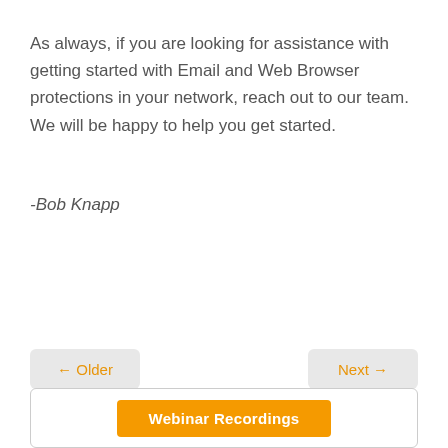As always, if you are looking for assistance with getting started with Email and Web Browser protections in your network, reach out to our team. We will be happy to help you get started.
-Bob Knapp
← Older
Next →
Webinar Recordings